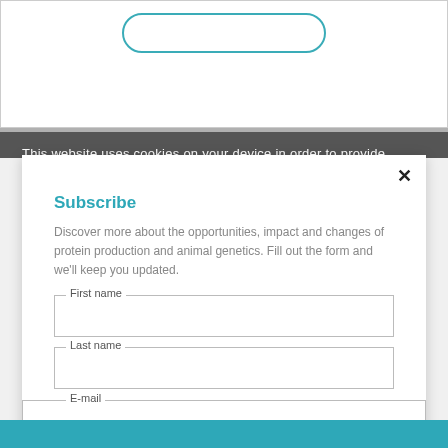[Figure (screenshot): Top white section showing a rounded teal border button outline]
This website uses cookies on your device in order to provide
Subscribe
Discover more about the opportunities, impact and changes of protein production and animal genetics. Fill out the form and we'll keep you updated.
First name
Last name
E-mail